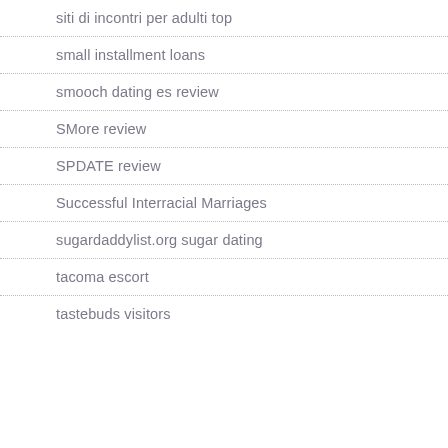siti di incontri per adulti top
small installment loans
smooch dating es review
SMore review
SPDATE review
Successful Interracial Marriages
sugardaddylist.org sugar dating
tacoma escort
tastebuds visitors